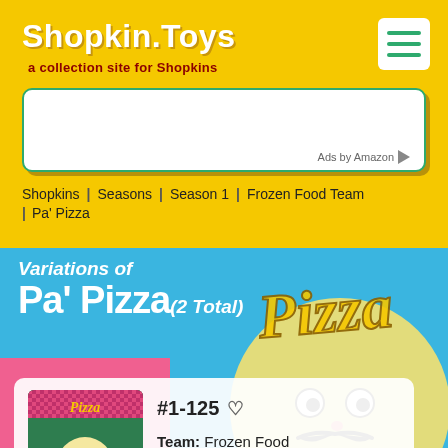Shopkin.Toys — a collection site for Shopkins
[Figure (screenshot): Amazon ads banner placeholder in white rounded box]
Ads by Amazon
Shopkins / Seasons / Season 1 / Frozen Food Team / Pa' Pizza
Variations of Pa' Pizza (2 Total)
[Figure (illustration): Shopkins Pa' Pizza character illustration on blue/pink background with large 'Pizza' stylized text]
#1-125
Team: Frozen Food
Finish: Frozen
Rarity: Special Edition